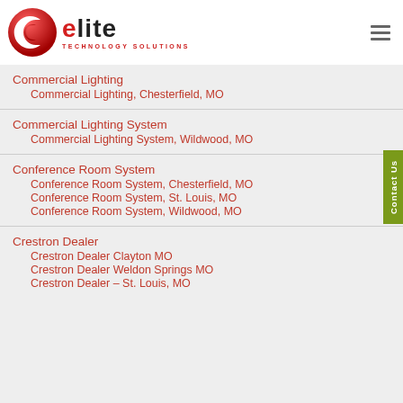[Figure (logo): Elite Technology Solutions logo with red circular C icon and dark text]
Commercial Lighting
  Commercial Lighting, Chesterfield, MO
Commercial Lighting System
  Commercial Lighting System, Wildwood, MO
Conference Room System
  Conference Room System, Chesterfield, MO
  Conference Room System, St. Louis, MO
  Conference Room System, Wildwood, MO
Crestron Dealer
  Crestron Dealer Clayton MO
  Crestron Dealer Weldon Springs MO
  Crestron Dealer – St. Louis, MO